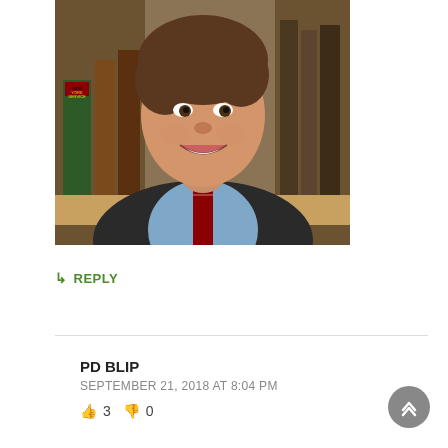[Figure (photo): Portrait photo of a man in a dark suit jacket, light blue dress shirt, and red striped tie, smiling at the camera. Behind him are law books on shelves including a red book labeled 'New York Service' and green and brown volumes.]
↳ REPLY
PD BLIP
SEPTEMBER 21, 2018 AT 8:04 PM
👍 3  👎 0